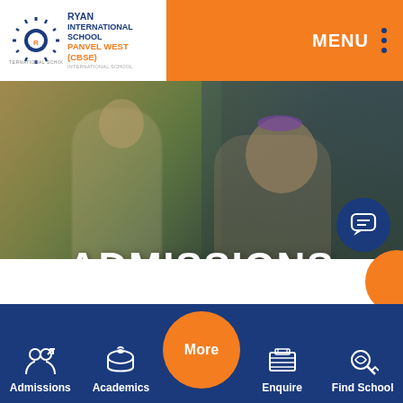[Figure (logo): Ryan International School sunburst logo with school name]
RYAN INTERNATIONAL SCHOOL PANVEL WEST (CBSE)
ADMISSIONS
[Figure (photo): School classroom scene with teacher and students, girl in school uniform looking sideways]
Admissions
Academics
More
Enquire
Find School